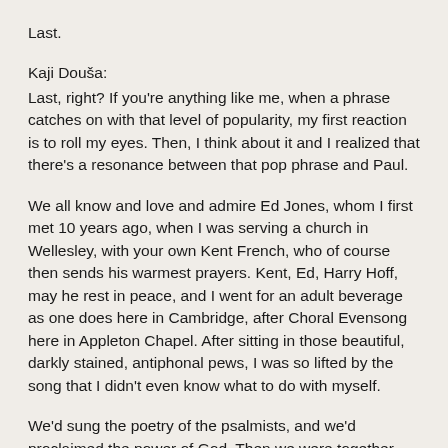Last.
Kaji Douša:
Last, right? If you're anything like me, when a phrase catches on with that level of popularity, my first reaction is to roll my eyes. Then, I think about it and I realized that there's a resonance between that pop phrase and Paul.
We all know and love and admire Ed Jones, whom I first met 10 years ago, when I was serving a church in Wellesley, with your own Kent French, who of course then sends his warmest prayers. Kent, Ed, Harry Hoff, may he rest in peace, and I went for an adult beverage as one does here in Cambridge, after Choral Evensong here in Appleton Chapel. After sitting in those beautiful, darkly stained, antiphonal pews, I was so lifted by the song that I didn't even know what to do with myself.
We'd sung the poetry of the psalmists, and we'd proclaimed the power of God. Then we were together, the white men and the black woman, together, we were just right there, there we were.